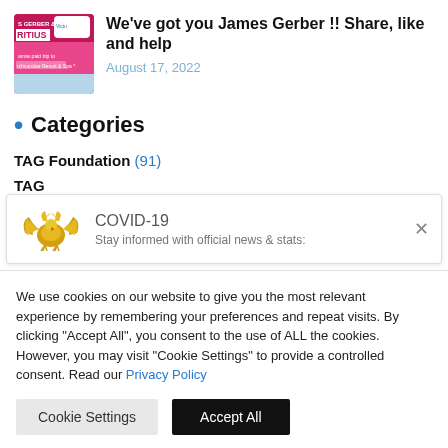[Figure (photo): Thumbnail image with text 'S GERBER & WIN RITIUS' and pink/magenta background, resembling a prize trip advertisement for Mauritius]
We've got you James Gerber !! Share, like and help
August 17, 2022
Categories
TAG Foundation (91)
TAG
[Figure (logo): Golden eagle/wings logo for COVID-19 information banner]
COVID-19
Stay informed with official news & stats:
We use cookies on our website to give you the most relevant experience by remembering your preferences and repeat visits. By clicking "Accept All", you consent to the use of ALL the cookies. However, you may visit "Cookie Settings" to provide a controlled consent. Read our Privacy Policy
Cookie Settings
Accept All